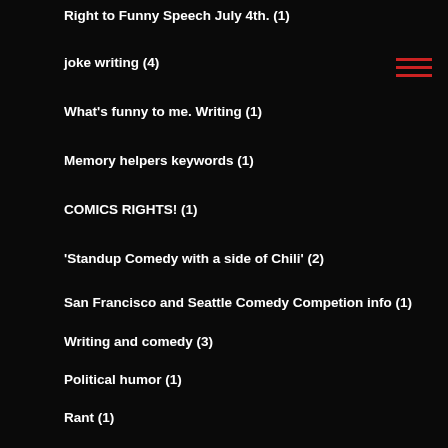Right to Funny Speech July 4th. (1)
joke writing (4)
What's funny to me. Writing (1)
Memory helpers keywords (1)
COMICS RIGHTS! (1)
'Standup Comedy with a side of Chili' (2)
San Francisco and Seattle Comedy Competion info (1)
Writing and comedy (3)
Political humor (1)
Rant (1)
SETUP-PUNCHLINE JOKE FORMULA (1)
dealing with heckler (1)
bombing in stand up comedy (1)
Jerry Seinfeld (1)
funny words (1)
Colin Quinn (1)
Joke Writing exercise, connection (2)
WRITING & COMEDY (2)